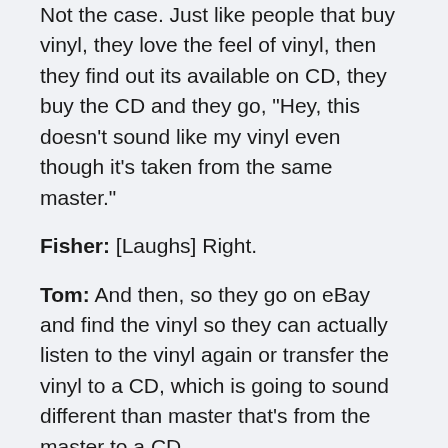Not the case. Just like people that buy vinyl, they love the feel of vinyl, then they find out its available on CD, they buy the CD and they go, "Hey, this doesn't sound like my vinyl even though it's taken from the same master."
Fisher: [Laughs] Right.
Tom: And then, so they go on eBay and find the vinyl so they can actually listen to the vinyl again or transfer the vinyl to a CD, which is going to sound different than master that's from the master to a CD.
Fisher: Yeah, you're right. And the one thing I thought about with this by the way